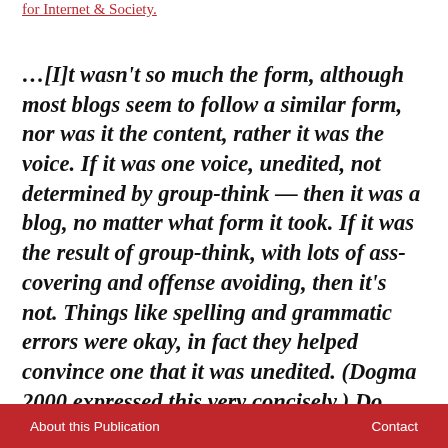for Internet & Society.
…[I]t wasn't so much the form, although most blogs seem to follow a similar form, nor was it the content, rather it was the voice. If it was one voice, unedited, not determined by group-think — then it was a blog, no matter what form it took. If it was the result of group-think, with lots of ass-covering and offense avoiding, then it's not. Things like spelling and grammatic errors were okay, in fact they helped convince one that it was unedited. (Dogma 2000 expressed this very concisely.) Do comments make it a blog? Do the lack of comments make it
About this Publication   Contact